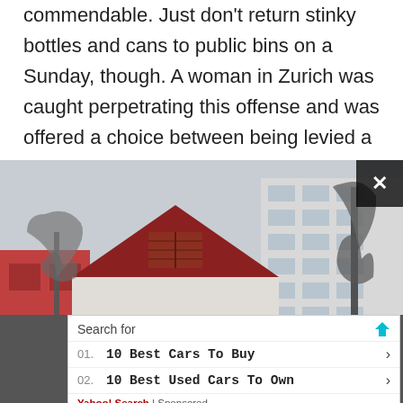commendable. Just don't return stinky bottles and cans to public bins on a Sunday, though. A woman in Zurich was caught perpetrating this offense and was offered a choice between being levied a fine or spending two nights in jail.
[Figure (photo): Street-level photo showing a grey building with a red wooden door arched entrance and a ventilation shutter window on the gable, flanked by a red building on the left and a multi-storey white apartment block on the right, bare winter trees visible, overcast sky.]
[Figure (screenshot): Yahoo Search sponsored advertisement box with 'Search for' heading, two sponsored links: '01. 10 Best Cars To Buy' and '02. 10 Best Used Cars To Own', with Yahoo! Search | Sponsored branding at the bottom.]